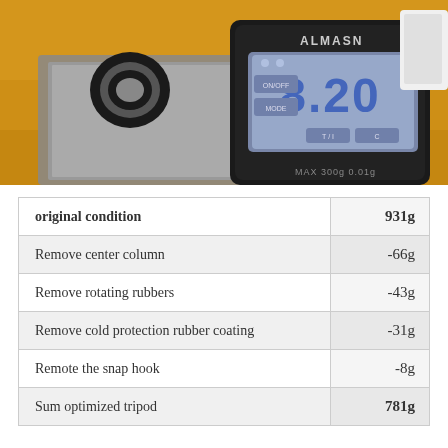[Figure (photo): A digital pocket scale (ALMASH brand) displaying 8.20 on its LCD screen, with a black metal ring/clamp sitting on the scale platform, placed on a wooden surface. The scale has ON/OFF, MODE, T/1, and C buttons visible.]
|  |  |
| --- | --- |
| original condition | 931g |
| Remove center column | -66g |
| Remove rotating rubbers | -43g |
| Remove cold protection rubber coating | -31g |
| Remote the snap hook | -8g |
| Sum optimized tripod | 781g |